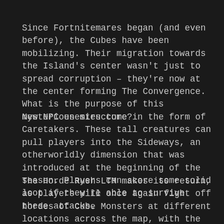Since Fortnitemares began (and even before), the Cubes have been mobilizing. Their migration towards the Island's center wasn't just to spread corruption – they're now at the center forming The Convergence. What is the purpose of this mysterious structure?
New NPC enemies come in the form of Caretakers. These tall creatures can pull players into the Sideways, an otherworldly dimension that was introduced at the beginning of the season. Players can score some solid loot if they're able to survive these attacks.
The Horde Rush LTM makes its return, as players will once again fight off hordes of Cube Monsters at different locations across the map, with the ultimate goal of defeating the final boss. Through completing